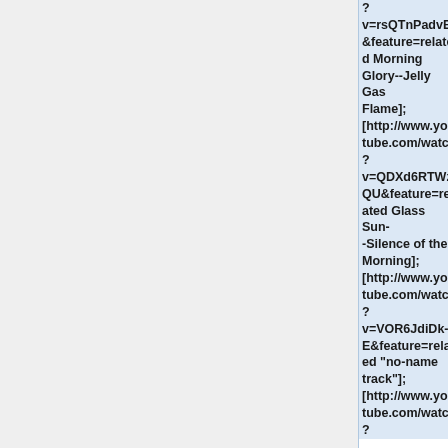? v=rsQTnPadvE4&feature=related Morning Glory--Jelly Gas Flame]; [http://www.youtube.com/watch?v=QDXd6RTWzQU&feature=related Glass Sun--Silence of the Morning]; [http://www.youtube.com/watch?v=VOR6JdiDk-E&feature=related "no-name track"]; [http://www.youtube.com/watch?